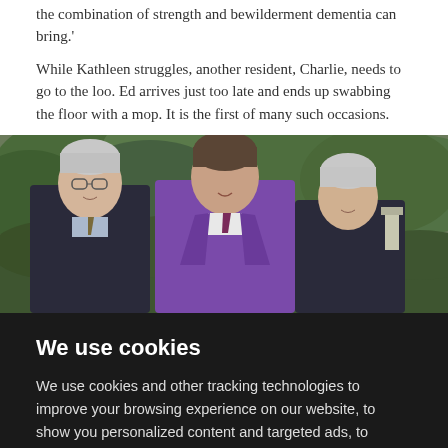the combination of strength and bewilderment dementia can bring.'
While Kathleen struggles, another resident, Charlie, needs to go to the loo. Ed arrives just too late and ends up swabbing the floor with a mop. It is the first of many such occasions.
[Figure (photo): Three people posing outdoors in a garden setting. A man in a dark suit with glasses on the left, a man in the center wearing academic purple graduation robes and a tie, and an older woman with short white hair on the right. Trees and hedges in the background.]
We use cookies
We use cookies and other tracking technologies to improve your browsing experience on our website, to show you personalized content and targeted ads, to analyze our website traffic, and